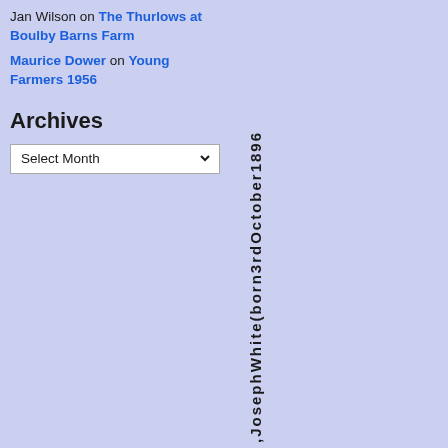Jan Wilson on The Thurlows at Boulby Barns Farm
Maurice Dower on Young Farmers 1956
Archives
Select Month
,JosephWhite(born3rdOctober1896